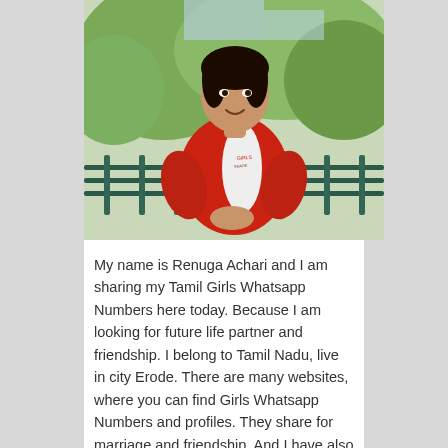[Figure (photo): Photo of a young woman wearing a red and white outfit, standing outdoors near a railing with green trees in the background.]
My name is Renuga Achari and I am sharing my Tamil Girls Whatsapp Numbers here today. Because I am looking for future life partner and friendship. I belong to Tamil Nadu, live in city Erode. There are many websites, where you can find Girls Whatsapp Numbers and profiles. They share for marriage and friendship. And I have also shared my number … Read More »